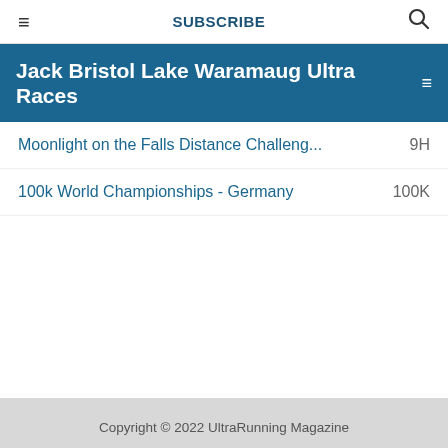≡  SUBSCRIBE  🔍
Jack Bristol Lake Waramaug Ultra Races
Moonlight on the Falls Distance Challeng...  9H
100k World Championships - Germany  100K
Copyright © 2022 UltraRunning Magazine